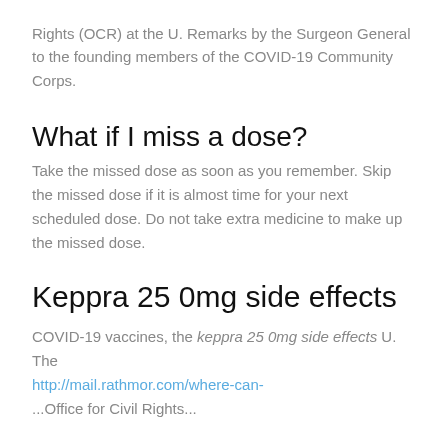Rights (OCR) at the U. Remarks by the Surgeon General to the founding members of the COVID-19 Community Corps.
What if I miss a dose?
Take the missed dose as soon as you remember. Skip the missed dose if it is almost time for your next scheduled dose. Do not take extra medicine to make up the missed dose.
Keppra 25 0mg side effects
COVID-19 vaccines, the keppra 25 0mg side effects U. The http://mail.rathmor.com/where-can- ... Office for Civil Rights...